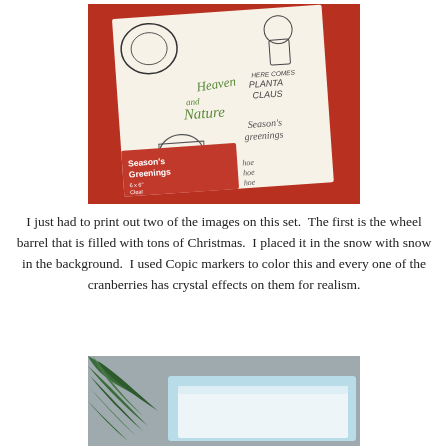[Figure (photo): Photo of a Season's Greenings 6x6 Clear Photopolymer Stamp Set package with Christmas-themed stamp images including wreaths, gnomes, and holiday sentiments, on a red background.]
I just had to print out two of the images on this set.  The first is the wheel barrel that is filled with tons of Christmas.  I placed it in the snow with snow in the background.  I used Copic markers to color this and every one of the cranberries has crystal effects on them for realism.
[Figure (photo): Photo of a handmade Christmas card with a pine branch visible and a light blue panel with a white embossed or diecut layer.]